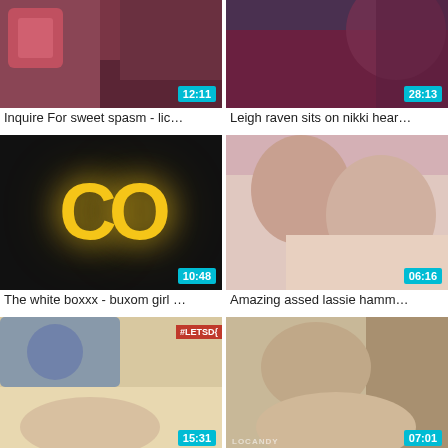[Figure (photo): Video thumbnail: couple on couch, duration 12:11]
Inquire For sweet spasm - lic…
[Figure (photo): Video thumbnail: tattooed person, duration 28:13]
Leigh raven sits on nikki hear…
[Figure (photo): Video thumbnail: dark background with yellow CO letters, duration 10:48]
The white boxxx - buxom girl …
[Figure (photo): Video thumbnail: couple intimate scene, duration 06:16]
Amazing assed lassie hamm…
[Figure (photo): Video thumbnail: blonde woman on couch, LETSDOEIT watermark, duration 15:31]
Letsdoeit - christie starr brea…
[Figure (photo): Video thumbnail: dark-haired woman, locandy watermark, duration 07:01]
Series de latinas xxx
[Figure (photo): Video thumbnail: partial view, bottom row left]
[Figure (photo): Video thumbnail: partial view, bottom row right]